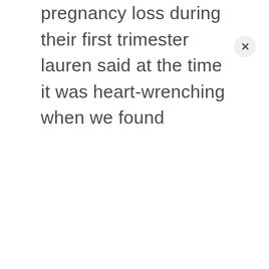pregnancy loss during their first trimester lauren said at the time it was heart-wrenching when we found